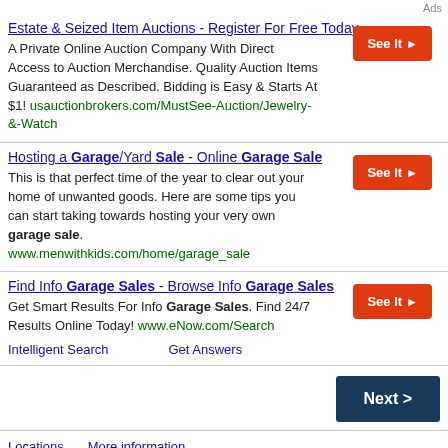Ads
Estate & Seized Item Auctions - Register For Free Today
A Private Online Auction Company With Direct Access to Auction Merchandise. Quality Auction Items Guaranteed as Described. Bidding is Easy & Starts At $1! usauctionbrokers.com/MustSee-Auction/Jewelry-&-Watch
Hosting a Garage/Yard Sale - Online Garage Sale
This is that perfect time of the year to clear out your home of unwanted goods. Here are some tips you can start taking towards hosting your very own garage sale. www.menwithkids.com/home/garage_sale
Find Info Garage Sales - Browse Info Garage Sales
Get Smart Results For Info Garage Sales. Find 24/7 Results Online Today! www.eNow.com/Search
Intelligent Search
Get Answers
Next >
Locations   More information
© 2022 ClassifiedAds.com, Inc. All rights reserved.